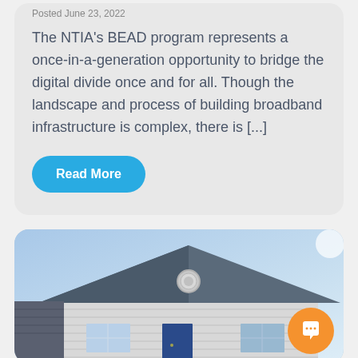Posted June 23, 2022
The NTIA's BEAD program represents a once-in-a-generation opportunity to bridge the digital divide once and for all. Though the landscape and process of building broadband infrastructure is complex, there is [...]
Read More
[Figure (photo): Exterior photo of a single-story white residential house with blue sky and sunlight in the background]